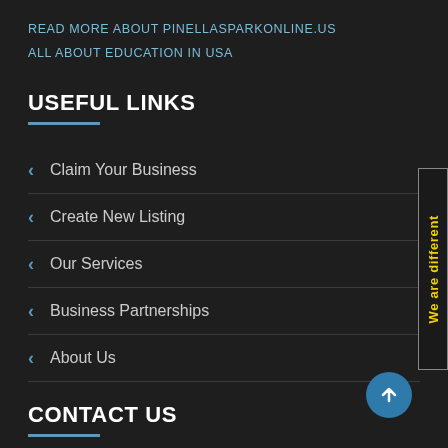READ MORE ABOUT PINELLASPARKONLINE.US
ALL ABOUT EDUCATION IN USA
USEFUL LINKS
Claim Your Business
Create New Listing
Our Services
Business Partnerships
About Us
CONTACT US
Enquiry Form
[Figure (other): Side banner with rotated text 'We are different' in yellow on dark background with border]
[Figure (other): Blue circular scroll-to-top button with upward arrow]